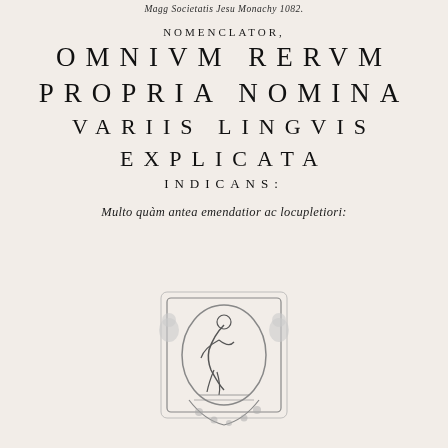Magg Societatis Jesu Monachy 1082.
NOMENCLATOR,
OMNIUM RERUM PROPRIA NOMINA VARIIS LINGVIS EXPLICATA INDICANS:
Multo quàm antea emendatior ac locupletiori:
[redacted] AVCTORE: Hadriano Iunio Medico
[Figure (illustration): Printer's device or publisher's emblem showing a figure of a person bending/working within an oval wreath frame decorated with cherubs and foliage]